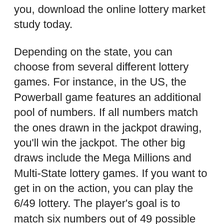To help you decide which online lottery is best for you, download the online lottery market study today.
Depending on the state, you can choose from several different lottery games. For instance, in the US, the Powerball game features an additional pool of numbers. If all numbers match the ones drawn in the jackpot drawing, you'll win the jackpot. The other big draws include the Mega Millions and Multi-State lottery games. If you want to get in on the action, you can play the 6/49 lottery. The player's goal is to match six numbers out of 49 possible choices.
Buying tickets for lottery games online allows you to buy tickets in just a few seconds, and you can purchase them from anywhere – your computer, tablet, or smartphone. Top lottery sites are optimized for mobile devices, making it easy to purchase tickets no matter what device you use. Although there are